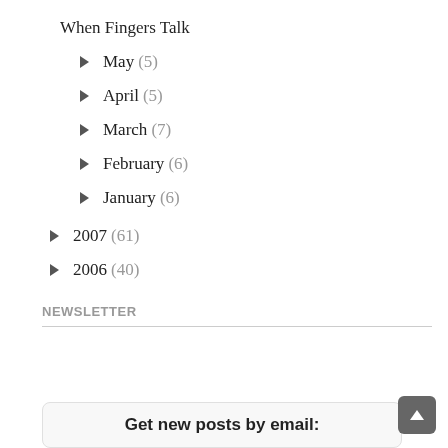When Fingers Talk
► May (5)
► April (5)
► March (7)
► February (6)
► January (6)
► 2007 (61)
► 2006 (40)
NEWSLETTER
Get new posts by email: